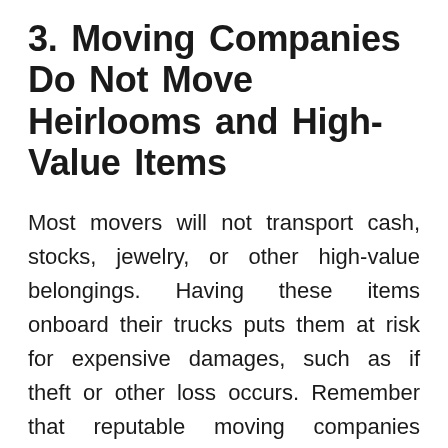3. Moving Companies Do Not Move Heirlooms and High-Value Items
Most movers will not transport cash, stocks, jewelry, or other high-value belongings. Having these items onboard their trucks puts them at risk for expensive damages, such as if theft or other loss occurs. Remember that reputable moving companies maintain insurance, but these policies only cover the current market value. Sentimentality is priceless, so these are things you should pack into your own vehicle when you move.